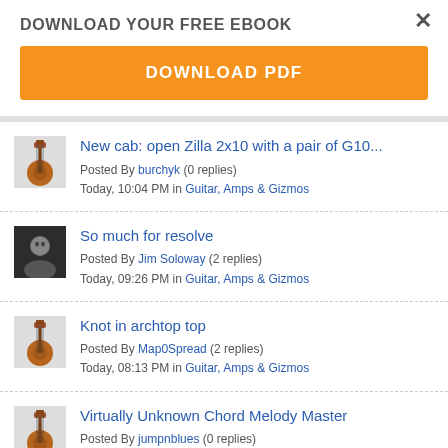DOWNLOAD YOUR FREE EBOOK
DOWNLOAD PDF
New cab: open Zilla 2x10 with a pair of G10... Posted By burchyk (0 replies) Today, 10:04 PM in Guitar, Amps & Gizmos
So much for resolve Posted By Jim Soloway (2 replies) Today, 09:26 PM in Guitar, Amps & Gizmos
Knot in archtop top Posted By Map0Spread (2 replies) Today, 08:13 PM in Guitar, Amps & Gizmos
Virtually Unknown Chord Melody Master Posted By jumpnblues (0 replies)